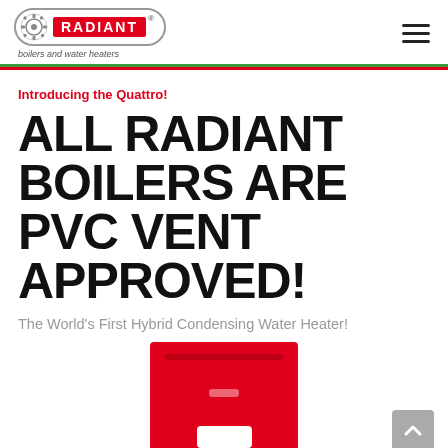[Figure (logo): Radiant boilers and water heaters logo with oval border and red badge]
Introducing the Quattro!
ALL RADIANT BOILERS ARE PVC VENT APPROVED!
The World's First Hybrid Condensing Water Heater!
[Figure (photo): Red Radiant boiler unit, partially visible at bottom of page]